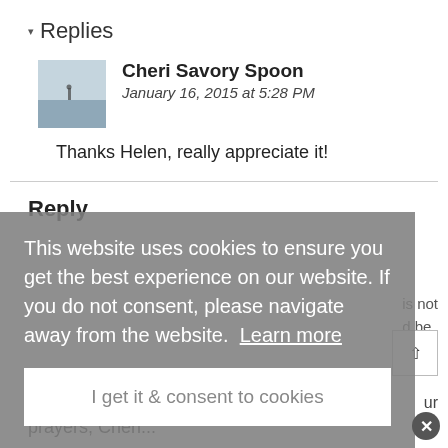▾ Replies
Cheri Savory Spoon
January 16, 2015 at 5:28 PM
Thanks Helen, really appreciate it!
Reply
is not
d be
ur
prayers, Cheri...
This website uses cookies to ensure you get the best experience on our website. If you do not consent, please navigate away from the website.  Learn more
I get it & consent to cookies